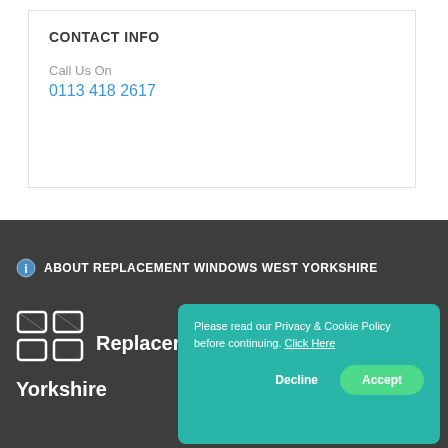CONTACT INFO
Call Us On
0113 418 2617
ABOUT REPLACEMENT WINDOWS WEST YORKSHIRE
[Figure (logo): Replacement Windows West Yorkshire logo — grid/window pane icon in white next to text 'Replacement Windows West Yorkshire']
Please read our Privacy & Cookie Policy before continuing. Click Here
Decline
Accept